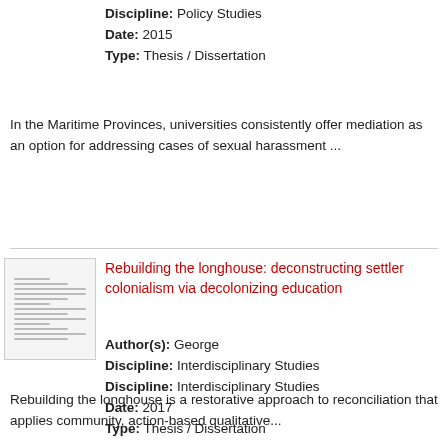Discipline: Policy Studies
Date: 2015
Type: Thesis / Dissertation
In the Maritime Provinces, universities consistently offer mediation as an option for addressing cases of sexual harassment ...
Rebuilding the longhouse: deconstructing settler colonialism via decolonizing education
Author(s): George
Discipline: Interdisciplinary Studies
Discipline: Interdisciplinary Studies
Date: 2017
Type: Thesis / Dissertation
Rebuilding the longhouse is a restorative approach to reconciliation that applies community, action-based qualitative...